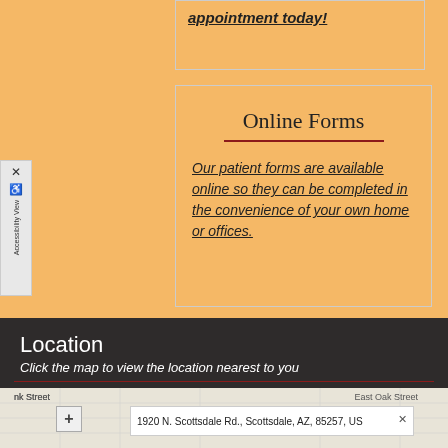appointment today!
Online Forms
Our patient forms are available online so they can be completed in the convenience of your own home or offices.
Location
Click the map to view the location nearest to you
[Figure (map): Street map showing location near East Oak Street with a popup showing the address 1920 N. Scottsdale Rd., Scottsdale, AZ, 85257, US]
1920 N. Scottsdale Rd., Scottsdale, AZ, 85257, US